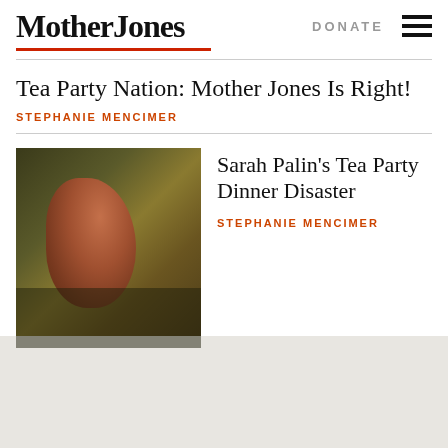Mother Jones
Tea Party Nation: Mother Jones Is Right!
STEPHANIE MENCIMER
[Figure (photo): Photo of Sarah Palin smiling at a podium with a microphone, wearing a dark red jacket, with a blurred background]
Sarah Palin’s Tea Party Dinner Disaster
STEPHANIE MENCIMER